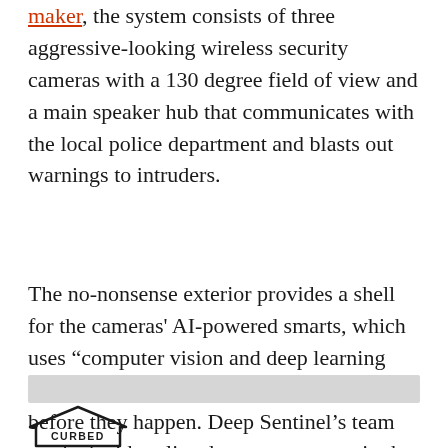maker, the system consists of three aggressive-looking wireless security cameras with a 130 degree field of view and a main speaker hub that communicates with the local police department and blasts out warnings to intruders.
The no-nonsense exterior provides a shell for the cameras' AI-powered smarts, which uses "computer vision and deep learning algorithms" to recognize potential break-ins before they happen. Deep Sentinel's team worked with police departments to train the system to differentiate between, say, a deer crossing your lawn and a masked burglar on his way to jimmying your lock.
[Figure (logo): Curbed logo — a house-shaped outline with the word CURBED inside]